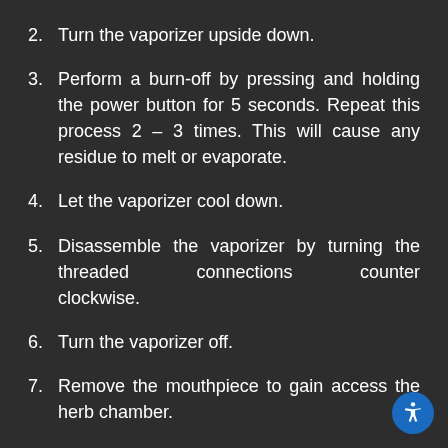2. Turn the vaporizer upside down.
3. Perform a burn-off by pressing and holding the power button for 5 seconds. Repeat this process 2 – 3 times. This will cause any residue to melt or evaporate.
4. Let the vaporizer cool down.
5. Disassemble the vaporizer by turning the threaded connections counter clockwise.
6. Turn the vaporizer off.
7. Remove the mouthpiece to gain access the herb chamber.